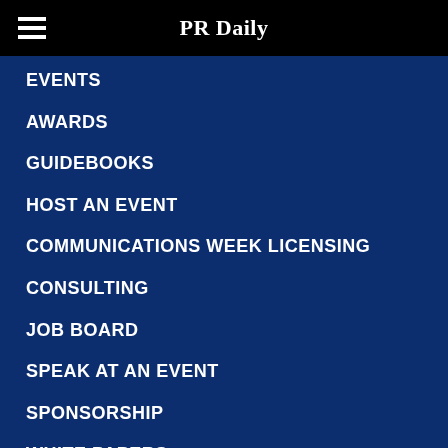PR Daily
EVENTS
AWARDS
GUIDEBOOKS
HOST AN EVENT
COMMUNICATIONS WEEK LICENSING
CONSULTING
JOB BOARD
SPEAK AT AN EVENT
SPONSORSHIP
WHITE PAPERS